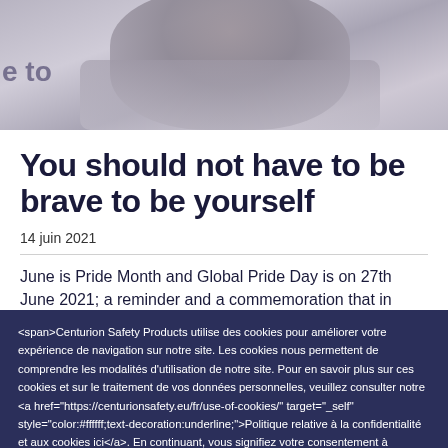[Figure (photo): Grayscale photograph of a person, partially visible at top of page with purple/lavender tinted background]
You should not have to be brave to be yourself
14 juin 2021
June is Pride Month and Global Pride Day is on 27th June 2021; a reminder and a commemoration that...
<span>Centurion Safety Products utilise des cookies pour améliorer votre expérience de navigation sur notre site. Les cookies nous permettent de comprendre les modalités d'utilisation de notre site. Pour en savoir plus sur ces cookies et sur le traitement de vos données personnelles, veuillez consulter notre <a href="https://centurionsafety.eu/fr/use-of-cookies/" target="_self" style="color:#ffffff;text-decoration:underline;">Politique relative à la confidentialité et aux cookies ici</a>. En continuant, vous signifiez votre consentement à l'utilisation de ces cookies.</span> Privacy & Cookie Policies here.
accepter les cookies
Bletchley Park. Turing's work is estimated to have